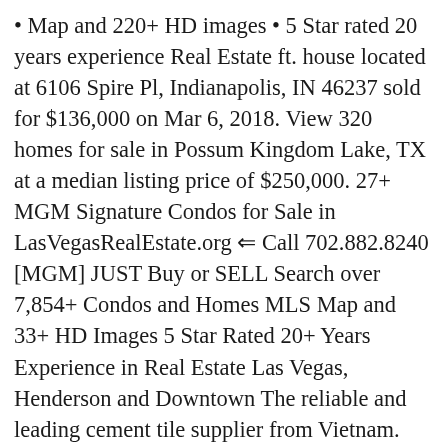• Map and 220+ HD images • 5 Star rated 20 years experience Real Estate ft. house located at 6106 Spire Pl, Indianapolis, IN 46237 sold for $136,000 on Mar 6, 2018. View 320 homes for sale in Possum Kingdom Lake, TX at a median listing price of $250,000. 27+ MGM Signature Condos for Sale in LasVegasRealEstate.org ⇐ Call 702.882.8240 [MGM] JUST Buy or SELL Search over 7,854+ Condos and Homes MLS Map and 33+ HD Images 5 Star Rated 20+ Years Experience in Real Estate Las Vegas, Henderson and Downtown The reliable and leading cement tile supplier from Vietnam. See all the Homes for Sale on Lake Murray - up to 72 hours before they appear on Zillow or Trulia. Model will be located at 2731 Summit Parkway SW Atlanta, GA 30331. Page 2 Browse photos, see new properties, get open house info, and research neighborhoods on Trulia. 80 Homes For Sale in Washington, MI. See pricing and listing details of